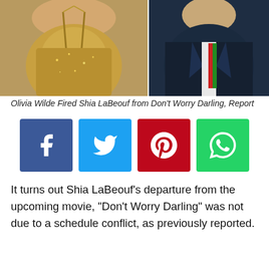[Figure (photo): Two side-by-side photos: left shows a woman in a sparkly gold/silver halter dress; right shows a man in a dark navy suit with a striped tie featuring Italian flag colors (white, red, green).]
Olivia Wilde Fired Shia LaBeouf from Don't Worry Darling, Report
[Figure (infographic): Row of four social media share buttons: Facebook (blue), Twitter (cyan), Pinterest (red), WhatsApp (green)]
It turns out Shia LaBeouf's departure from the upcoming movie, "Don't Worry Darling" was not due to a schedule conflict, as previously reported.
In a report Variety ran on Thursday about the actor, LaBeouf was apparently fired from the psychological thriller, centered on an unhappy 1950s housewife, after displaying “poor behavior” to the cast and crew, including director Olivia Wilde.
“He is not an easy guy to work with,” a source told Variety.